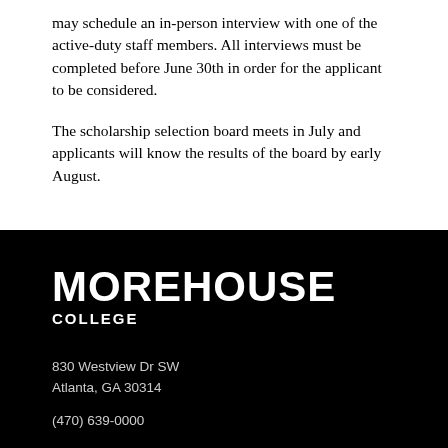may schedule an in-person interview with one of the active-duty staff members. All interviews must be completed before June 30th in order for the applicant to be considered.
The scholarship selection board meets in July and applicants will know the results of the board by early August.
[Figure (logo): Morehouse College logo — white text on black background reading MOREHOUSE in large bold sans-serif, with COLLEGE beneath in smaller bold caps]
830 Westview Dr SW
Atlanta, GA 30314
(470) 639-0000